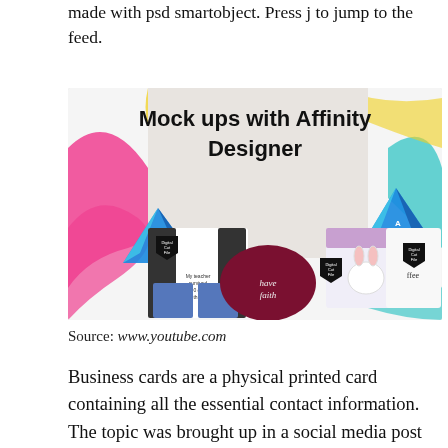made with psd smartobject. Press j to jump to the feed.
[Figure (illustration): Promotional YouTube thumbnail for 'Mock ups with Affinity Designer' showing t-shirts and casual clothing items with Affinity Designer logos on a colorful painted background.]
Source: www.youtube.com
Business cards are a physical printed card containing all the essential contact information. The topic was brought up in a social media post and though a variety of